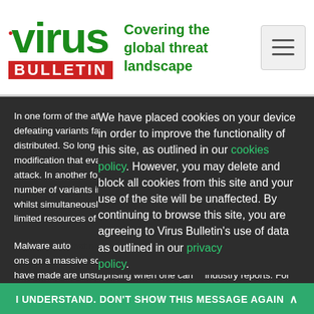Virus Bulletin — Covering the global threat landscape
In one form of the attack, all that is required is to produce signature-defeating variants faster than the signatures can be constructed and distributed. So long as it is relatively easy to crank out a new modification that evades the signatures, it will remain an effective attack. In another form of the attack, a rapid flooding of a large number of variants increases the difficulty of matching all variants whilst simultaneously creating a denial-of-service attack on the limited resources of anti-virus analysts.
Malware automation brings opportunities and are creating variations on a massive scale. The headlines that the 'Storm Worm' trojan have made are unsurprising when one can industry reports. For example, according to Microsoft's
We have placed cookies on your device in order to improve the functionality of this site, as outlined in our cookies policy. However, you may delete and block all cookies from this site and your use of the site will be unaffected. By continuing to browse this site, you are agreeing to Virus Bulletin's use of data as outlined in our privacy policy.
I UNDERSTAND. DON'T SHOW THIS MESSAGE AGAIN